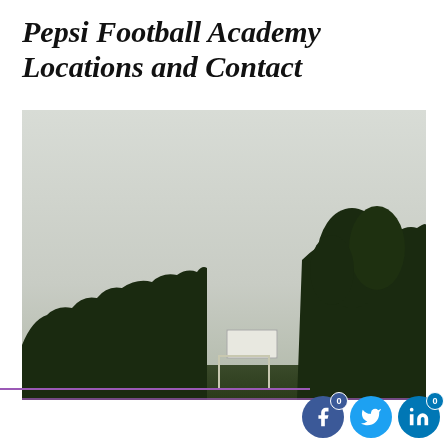Pepsi Football Academy Locations and Contact
[Figure (photo): Outdoor football/soccer field at dusk or dawn, silhouette of trees and a goal post visible in the foreground against a pale gray-green sky. A billboard or scoreboard is visible in the background among the trees.]
[Figure (infographic): Social media share buttons: Facebook (blue circle with 'f', badge '0'), Twitter (cyan circle with bird icon), LinkedIn (dark blue circle with 'in', badge '0')]